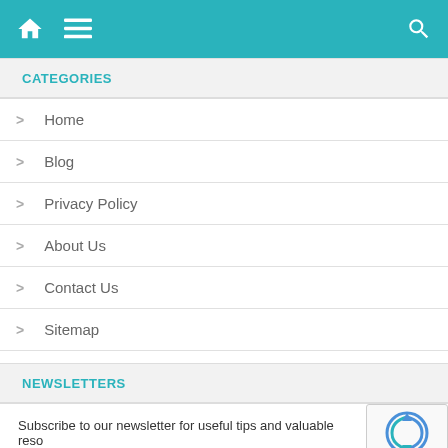Navigation header with home, menu, and search icons
CATEGORIES
Home
Blog
Privacy Policy
About Us
Contact Us
Sitemap
NEWSLETTERS
Subscribe to our newsletter for useful tips and valuable reso
Name